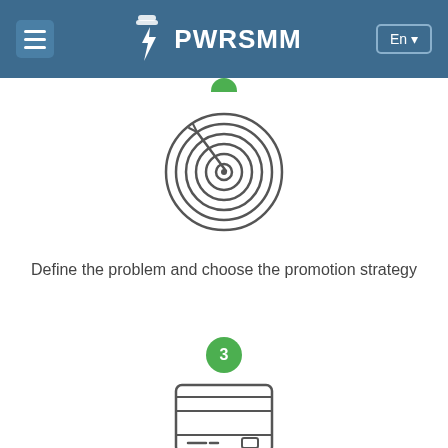PWRSMM — En
[Figure (illustration): Target/bullseye icon with arrow, outlined in gray]
Define the problem and choose the promotion strategy
[Figure (illustration): Green circle with number 3]
[Figure (illustration): Credit card icon, outlined in gray]